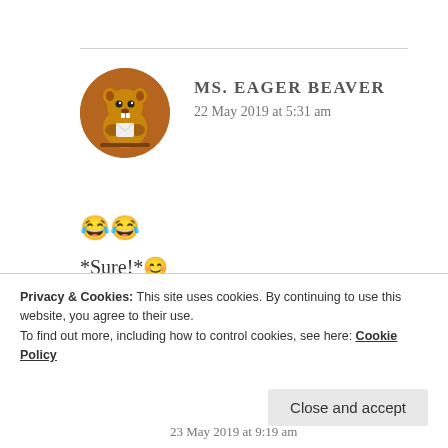[Figure (illustration): Circular avatar with brown background showing a cartoon beaver holding something white]
MS. EAGER BEAVER
22 May 2019 at 5:31 am
😂😂
*Sure!*😊
*Haha! I guess he wasn't interested in remaining lucky. He cheated!*😂😂
★ Liked by 1 person
Privacy & Cookies: This site uses cookies. By continuing to use this website, you agree to their use.
To find out more, including how to control cookies, see here: Cookie Policy
Close and accept
23 May 2019 at 9:19 am